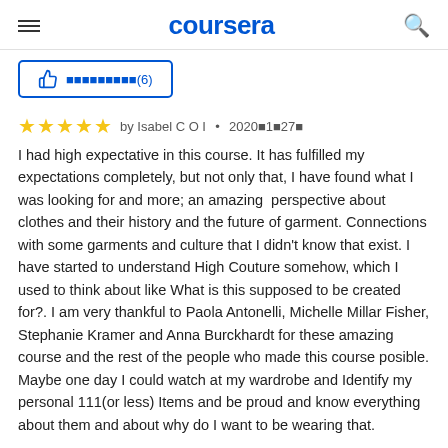coursera
⬛⬛⬛⬛⬛⬛⬛⬛⬛(6)
by Isabel C O I · 2020⬛1⬛27⬛
I had high expectative in this course. It has fulfilled my expectations completely, but not only that, I have found what I was looking for and more; an amazing  perspective about clothes and their history and the future of garment. Connections with some garments and culture that I didn't know that exist. I have started to understand High Couture somehow, which I used to think about like What is this supposed to be created for?. I am very thankful to Paola Antonelli, Michelle Millar Fisher, Stephanie Kramer and Anna Burckhardt for these amazing course and the rest of the people who made this course posible. Maybe one day I could watch at my wardrobe and Identify my personal 111(or less) Items and be proud and know everything about them and about why do I want to be wearing that.